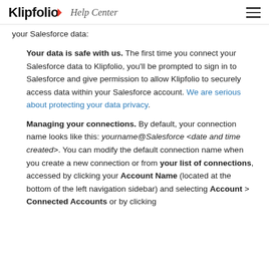Klipfolio Help Center
your Salesforce data:
Your data is safe with us. The first time you connect your Salesforce data to Klipfolio, you'll be prompted to sign in to Salesforce and give permission to allow Klipfolio to securely access data within your Salesforce account. We are serious about protecting your data privacy.
Managing your connections. By default, your connection name looks like this: yourname@Salesforce <date and time created>. You can modify the default connection name when you create a new connection or from your list of connections, accessed by clicking your Account Name (located at the bottom of the left navigation sidebar) and selecting Account > Connected Accounts or by clicking